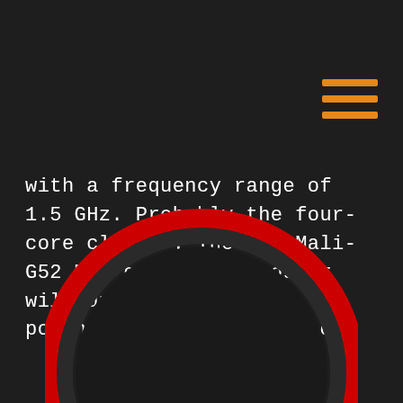[Figure (other): Hamburger menu icon with three orange horizontal lines, top-right corner]
with a frequency range of 1.5 GHz. Probably the four-core cluster. The ARM Mali-G52 MC1 graphical booster will unlock the full potential of the processor.
[Figure (other): Large circle with red/dark ring border, partially visible at bottom center of page]